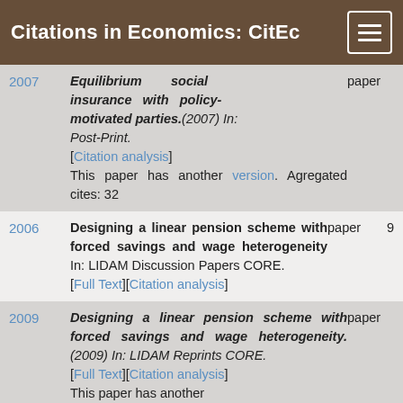Citations in Economics: CitEc
Equilibrium social insurance with policy-motivated parties.(2007) In: Post-Print. paper [Citation analysis] This paper has another version. Agregated cites: 32
Designing a linear pension scheme with forced savings and wage heterogeneity In: LIDAM Discussion Papers CORE. paper 9 [Full Text][Citation analysis]
Designing a linear pension scheme with forced savings and wage heterogeneity.(2009) In: LIDAM Reprints CORE. paper [Full Text][Citation analysis] This paper has another